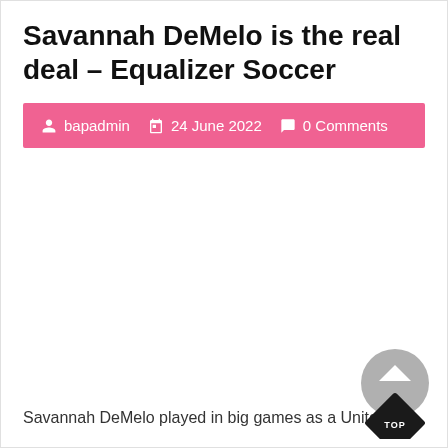Savannah DeMelo is the real deal – Equalizer Soccer
bapadmin  24 June 2022  0 Comments
Savannah DeMelo played in big games as a United